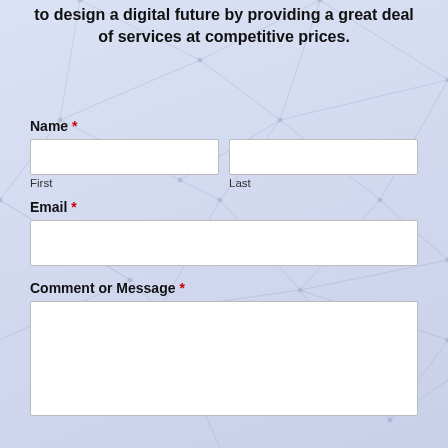to design a digital future by providing a great deal of services at competitive prices.
Name *
First
Last
Email *
Comment or Message *